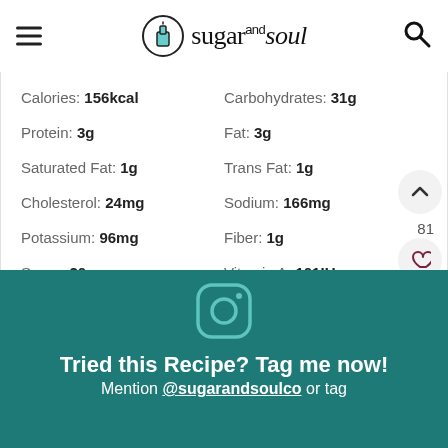sugar and soul
| Calories: 156kcal | Carbohydrates: 31g |
| Protein: 3g | Fat: 3g |
| Saturated Fat: 1g | Trans Fat: 1g |
| Cholesterol: 24mg | Sodium: 166mg |
| Potassium: 96mg | Fiber: 1g |
| Sugar: 20g | Vitamin A: 101IU |
| Vitamin C: 1mg | Calcium: 45mg |
| Iron: 1mg |  |
81
Tried this Recipe? Tag me now!
Mention @sugarandsoulco or tag